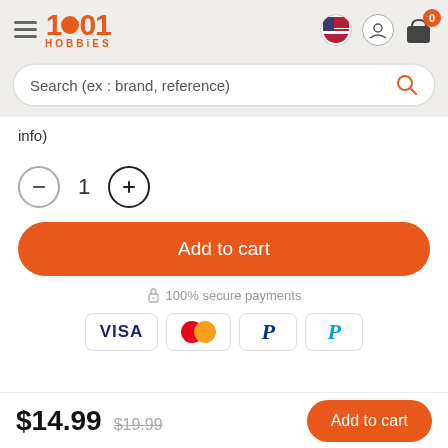[Figure (logo): 1001 Hobbies logo with hamburger menu, flag, user, and cart icons in header]
Search (ex : brand, reference)
info)
[Figure (other): Quantity selector with minus button, number 1, and plus button]
Add to cart
🔒 100% secure payments
[Figure (other): Payment method logos: VISA, Mastercard, PayPal (x2)]
$14.99
$19.99
Add to cart